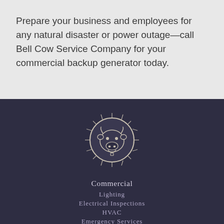Prepare your business and employees for any natural disaster or power outage—call Bell Cow Service Company for your commercial backup generator today.
[Figure (logo): Bell Cow Service Company circular logo featuring a cow head illustration surrounded by radiating lines, rendered in a sketched style on a dark navy background]
Commercial
Lighting
Electrical Inspections
HVAC
Emergency Services